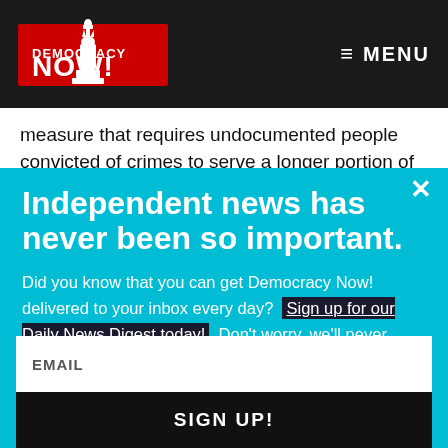Democracy Now! — MENU
measure that requires undocumented people convicted of crimes to serve a longer portion of their prison
Independent news has never been so important.
Did you know that you can get Democracy Now! delivered to your inbox every day? Sign up for our Daily News Digest today! Don't worry, we'll never share or sell your information.
EMAIL
SIGN UP!